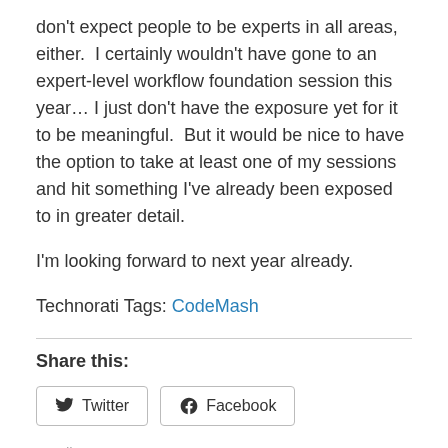don't expect people to be experts in all areas, either.  I certainly wouldn't have gone to an expert-level workflow foundation session this year… I just don't have the exposure yet for it to be meaningful.  But it would be nice to have the option to take at least one of my sessions and hit something I've already been exposed to in greater detail.
I'm looking forward to next year already.
Technorati Tags: CodeMash
Share this:
Twitter
Facebook
Loading...